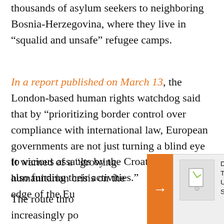thousands of asylum seekers to neighboring Bosnia-Herzegovina, where they live in “squalid and unsafe” refugee camps.
In a report published on March 13, the London-based human rights watchdog said that by “prioritizing border control over compliance with international law, European governments are not just turning a blind eye to vicious assaults by the Croatian police, but also funding their activities.”
It warned of a “growing humanitarian crisis on the edge of the Eu…
The route thro… increasingly po… from countries… including from…
[Figure (other): Orange arrow sidebar pointing right overlaid on the page, with a related article card showing a placeholder image and text: 'Despite Sweeping Sanctions Over The Ukraine War, Russian Unemployment Touches Post-Soviet Low. Here’s Why.']